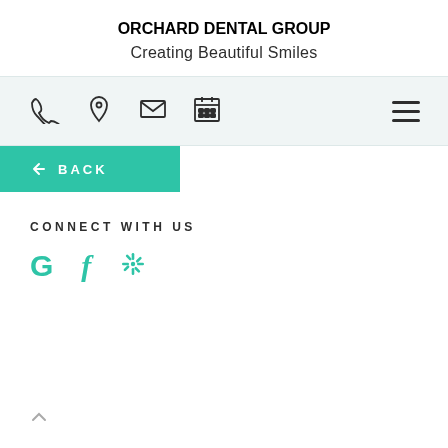ORCHARD DENTAL GROUP
Creating Beautiful Smiles
[Figure (screenshot): Navigation bar with phone, location, email, and calendar icons, plus hamburger menu on right]
[Figure (screenshot): Green back button with left arrow and BACK text]
CONNECT WITH US
[Figure (screenshot): Social media icons: Google (G), Facebook (f), Yelp (asterisk/flower)]